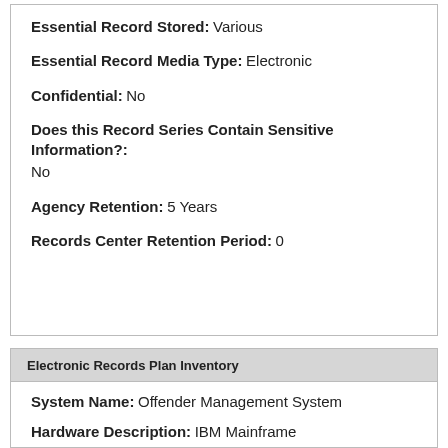Essential Record Stored: Various
Essential Record Media Type: Electronic
Confidential: No
Does this Record Series Contain Sensitive Information?: No
Agency Retention: 5 Years
Records Center Retention Period: 0
Electronic Records Plan Inventory
System Name: Offender Management System
Hardware Description: IBM Mainframe
Software Description: Database is backed